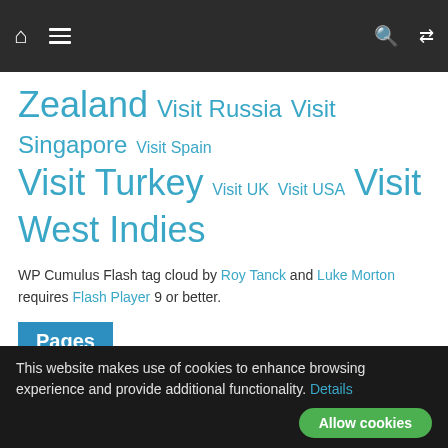Navigation bar with home, menu, search, and shuffle icons
Zealand Visit Russia Visit Singapore Visit Spain Visit Turkey Visit UK Visit USA Visit West Indies
WP Cumulus Flash tag cloud by Roy Tanck and Luke Morton requires Flash Player 9 or better.
Pages
Contact
Privacy Policy
This website makes use of cookies to enhance browsing experience and provide additional functionality. Details  Allow cookies